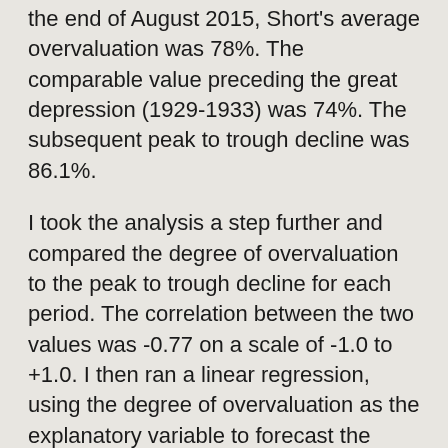the end of August 2015, Short's average overvaluation was 78%. The comparable value preceding the great depression (1929-1933) was 74%. The subsequent peak to trough decline was 86.1%.
I took the analysis a step further and compared the degree of overvaluation to the peak to trough decline for each period. The correlation between the two values was -0.77 on a scale of -1.0 to +1.0. I then ran a linear regression, using the degree of overvaluation as the explanatory variable to forecast the subsequent peak to trough decline. The r-squared of the regression was 0.594, which indicates that the regression explained almost 60% of the variation in the peak to trough declines.
It gets even more interesting when we use the regression to forecast the expected market decline based on the current overvaluation of 78%. The